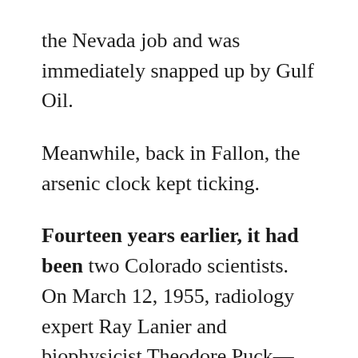the Nevada job and was immediately snapped up by Gulf Oil.
Meanwhile, back in Fallon, the arsenic clock kept ticking.
Fourteen years earlier, it had been two Colorado scientists. On March 12, 1955, radiology expert Ray Lanier and biophysicist Theodore Puck—both of the University of Colorado—reported their findings that radioactive dust drifting east from the Nevada atomic testing ground was a public health threat to